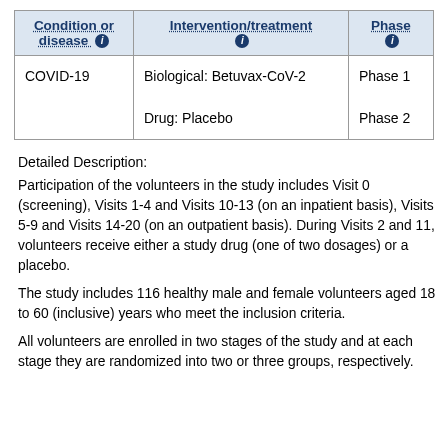| Condition or disease ℹ | Intervention/treatment ℹ | Phase ℹ |
| --- | --- | --- |
| COVID-19 | Biological: Betuvax-CoV-2

Drug: Placebo | Phase 1

Phase 2 |
Detailed Description:
Participation of the volunteers in the study includes Visit 0 (screening), Visits 1-4 and Visits 10-13 (on an inpatient basis), Visits 5-9 and Visits 14-20 (on an outpatient basis). During Visits 2 and 11, volunteers receive either a study drug (one of two dosages) or a placebo.
The study includes 116 healthy male and female volunteers aged 18 to 60 (inclusive) years who meet the inclusion criteria.
All volunteers are enrolled in two stages of the study and at each stage they are randomized into two or three groups, respectively.